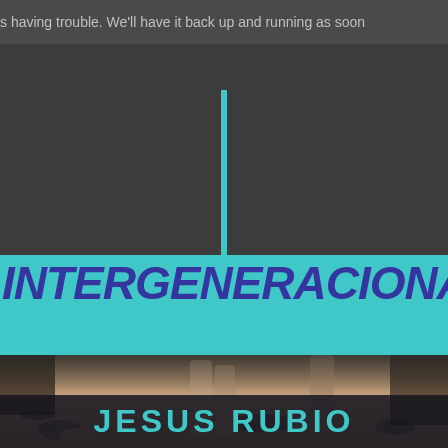s having trouble. We'll have it back up and running as soon
[Figure (illustration): Vertical cyan/teal bar dividing header and title area]
INTERGENERACIONAL
[Figure (photo): Feet and legs of multiple people walking on a wooden floor, with shadows visible]
JESUS RUBIO